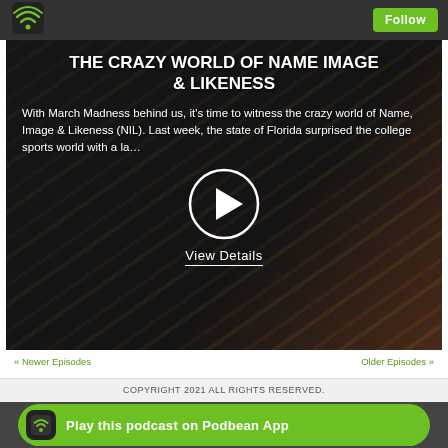[Figure (logo): Podbean podcast app WiFi/radio wave logo icon in green on dark bar]
Follow
THE CRAZY WORLD OF NAME IMAGE & LIKENESS
With March Madness behind us, it’s time to witness the crazy world of Name, Image & Likeness (NIL). Last week, the state of Florida surprised the college sports world with a la…
[Figure (other): Circular play button (white circle with white triangle/play icon) on dark background]
View Details
« Newer Episodes
Older Episodes »
COPYRIGHT 2021 ALL RIGHTS RESERVED.
Play this podcast on Podbean App